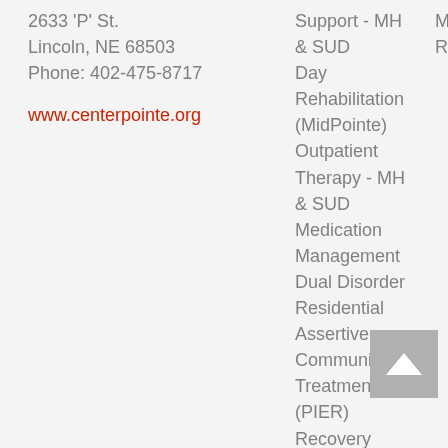2633 'P' St.
Lincoln, NE 68503
Phone: 402-475-8717
www.centerpointe.org
Support - MH & SUD
Day Rehabilitation (MidPointe)
Outpatient Therapy - MH & SUD
Medication Management
Dual Disorder Residential
Assertive Community Treatment (PIER)
Recovery
Mobile C
Respons